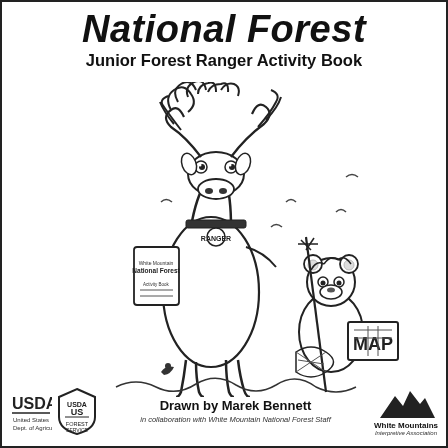National Forest
Junior Forest Ranger Activity Book
[Figure (illustration): Black and white cartoon illustration of a tall moose wearing a ranger badge and holding a book labeled 'National Forest', accompanied by a small bear cub character holding a map labeled 'MAP' and a stick/rake, with small birds around them, standing on grass.]
[Figure (logo): USDA logo]
[Figure (logo): US Forest Service shield logo]
Drawn by Marek Bennett
in collaboration with White Mountain National Forest Staff
[Figure (logo): White Mountains Interpretive Association logo with mountain silhouette]